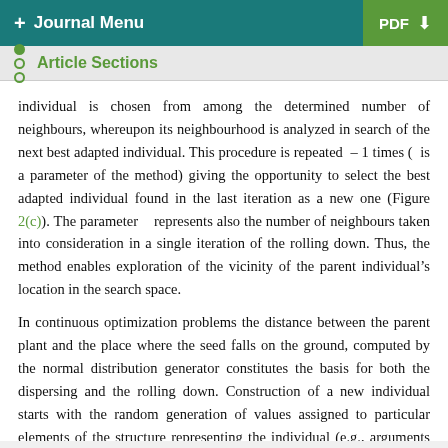+ Journal Menu   PDF ↓
Article Sections
individual is chosen from among the determined number of neighbours, whereupon its neighbourhood is analyzed in search of the next best adapted individual. This procedure is repeated – 1 times ( is a parameter of the method) giving the opportunity to select the best adapted individual found in the last iteration as a new one (Figure 2(c)). The parameter represents also the number of neighbours taken into consideration in a single iteration of the rolling down. Thus, the method enables exploration of the vicinity of the parent individual's location in the search space.
In continuous optimization problems the distance between the parent plant and the place where the seed falls on the ground, computed by the normal distribution generator constitutes the basis for both the dispersing and the rolling down. Construction of a new individual starts with the random generation of values assigned to particular elements of the structure representing the individual (e.g., arguments of n-dimensional function). These